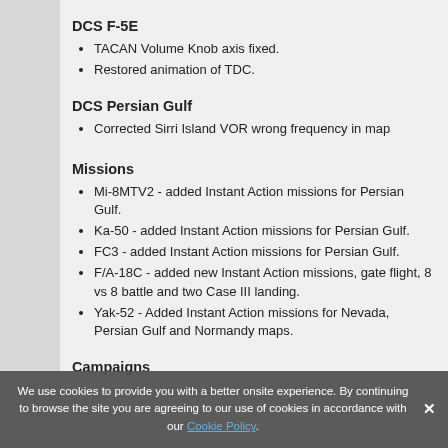DCS F-5E
TACAN Volume Knob axis fixed.
Restored animation of TDC.
DCS Persian Gulf
Corrected Sirri Island VOR wrong frequency in map
Missions
Mi-8MTV2 - added Instant Action missions for Persian Gulf.
Ka-50 - added Instant Action missions for Persian Gulf.
FC3 - added Instant Action missions for Persian Gulf.
F/A-18C - added new Instant Action missions, gate flight, 8 vs 8 battle and two Case III landing.
Yak-52 - Added Instant Action missions for Nevada, Persian Gulf and Normandy maps.
Campaigns
We use cookies to provide you with a better onsite experience. By continuing to browse the site you are agreeing to our use of cookies in accordance with our Cookie Policy.